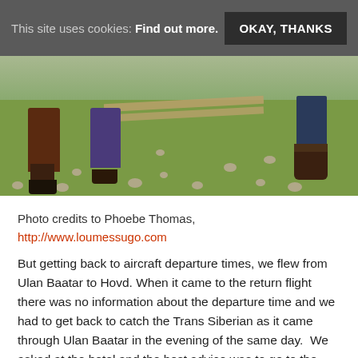This site uses cookies: Find out more. OKAY, THANKS
[Figure (photo): Photograph showing lower bodies and feet of people standing on a grassy field scattered with rocks and stones. Left figure wears a dark brown coat, middle figure wears a purple/dark garment, right figure wears jeans with tall dark boots. Wooden planks visible in background.]
Photo credits to Phoebe Thomas,
http://www.loumessugo.com
But getting back to aircraft departure times, we flew from Ulan Baatar to Hovd. When it came to the return flight there was no information about the departure time and we had to get back to catch the Trans Siberian as it came through Ulan Baatar in the evening of the same day.  We asked at the hotel and the best advice was to go to the